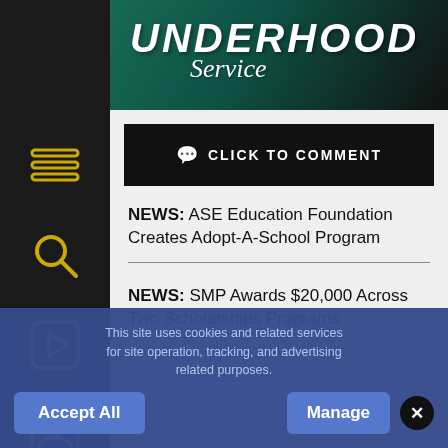Underhood Service — Babcox
CLICK TO COMMENT
NEWS: ASE Education Foundation Creates Adopt-A-School Program
NEWS: SMP Awards $20,000 Across Two Scholarships Programs
This site uses cookies and related services for site operation, tracking, and advertising related purposes.